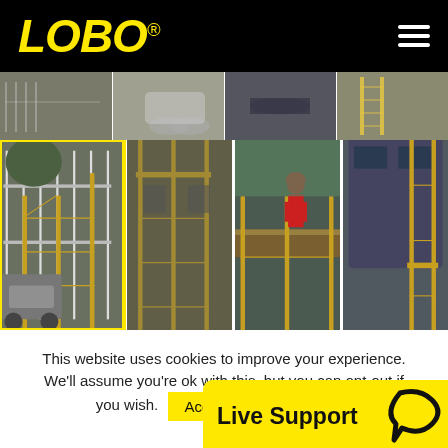[Figure (logo): LOBO logo in yellow on black background with hamburger menu icon]
[Figure (photo): Strip of scaffolding/work site photos at top]
[Figure (photo): Grid of four scaffolding work site photos, first one highlighted with yellow border]
This website uses cookies to improve your experience. We'll assume you're ok with this, but you can opt-out if you wish.
[Figure (infographic): Live Support button with chat icon in yellow]